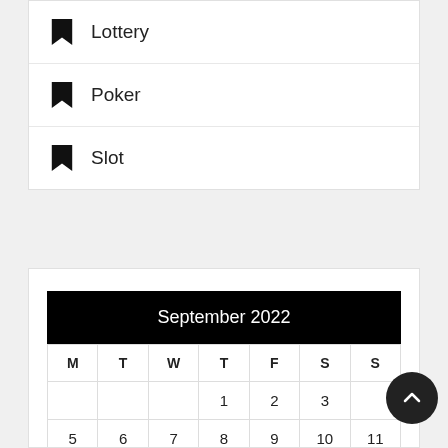Lottery
Poker
Slot
| M | T | W | T | F | S | S |
| --- | --- | --- | --- | --- | --- | --- |
|  |  |  | 1 | 2 | 3 |  |
| 5 | 6 | 7 | 8 | 9 | 10 | 11 |